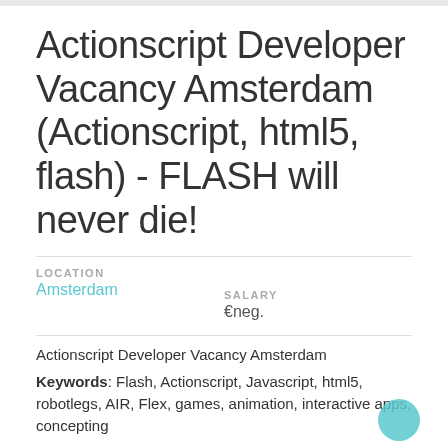Actionscript Developer Vacancy Amsterdam (Actionscript, html5, flash) - FLASH will never die!
LOCATION
Amsterdam
SALARY
€neg.
Actionscript Developer Vacancy Amsterdam
Keywords: Flash, Actionscript, Javascript, html5, robotlegs, AIR, Flex, games, animation, interactive apps, concepting
*We will disclose the name of the client on application. Our